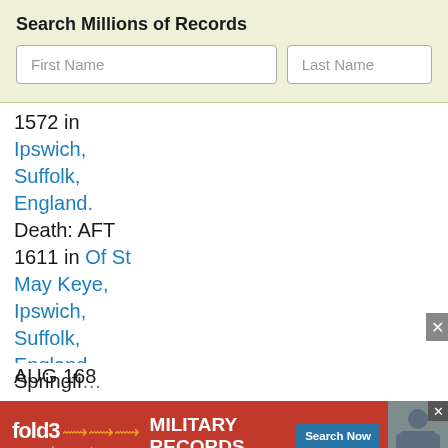Search Millions of Records
First Name
Last Name
1572 in Ipswich, Suffolk, England. Death: AFT 1611 in Of St May Keye, Ipswich, Suffolk, England Sarah : Birth: 1620 in England. Death: 23 AUG 1682 in Springfi...
[Figure (infographic): fold3 by Ancestry advertisement banner for Military Records with Search Now button and soldier photo]